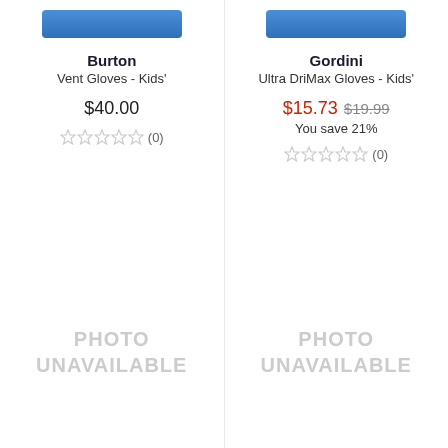[Figure (screenshot): Blue button bar for Burton product]
Burton
Vent Gloves - Kids'
$40.00
☆☆☆☆☆ (0)
[Figure (photo): PHOTO UNAVAILABLE placeholder for Burton]
[Figure (screenshot): Blue button bar for Gordini product]
Gordini
Ultra DriMax Gloves - Kids'
$15.73 $19.99
You save 21%
☆☆☆☆☆ (0)
[Figure (photo): PHOTO UNAVAILABLE placeholder for Gordini]